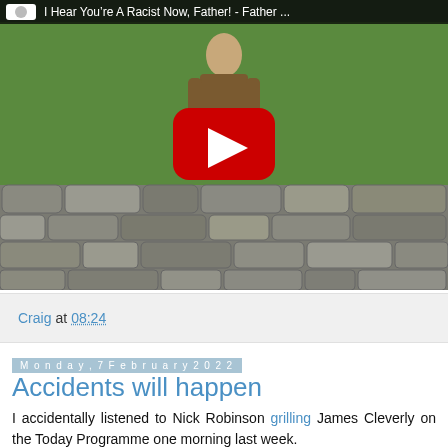[Figure (screenshot): YouTube video thumbnail showing a man in a brown coat standing in front of a green field and a dry stone wall. Video title reads 'I Hear You're A Racist Now, Father! - Father ...' with a YouTube logo and red play button overlay.]
Craig at 08:24
Monday, 7 February 2022
Accidents will happen
I accidentally listened to Nick Robinson grilling James Cleverly on the Today Programme one morning last week.